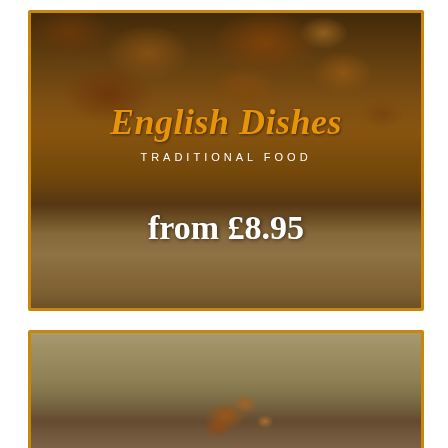[Figure (photo): Top food card with golden border showing roasted potato cubes dish with text overlay: 'English Dishes', 'TRADITIONAL FOOD', 'from £8.95']
English Dishes
TRADITIONAL FOOD
from £8.95
[Figure (photo): Bottom food card with golden border showing a dish with garnish/salad on a white plate, partially visible]